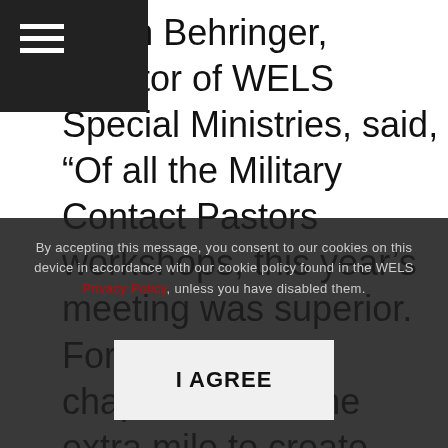v. Jim Behringer, director of WELS Special Ministries, said, “Of all the Military Contact Pastors workshops, this year’s meeting was superior. Fort Stewart’s chaplains went the extra mile to create mutual understanding. They were impressed by the WELS desire to serve military personnel and they made every effort to help us in that regard. Our attendees are always highly motivated by the speakers, but it was the outstanding presentations that helped improve our ability to serve military members with the
By accepting this message, you consent to our cookies on this device in accordance with our cookie policy found in the WELS Privacy Policy, unless you have disabled them.
I AGREE